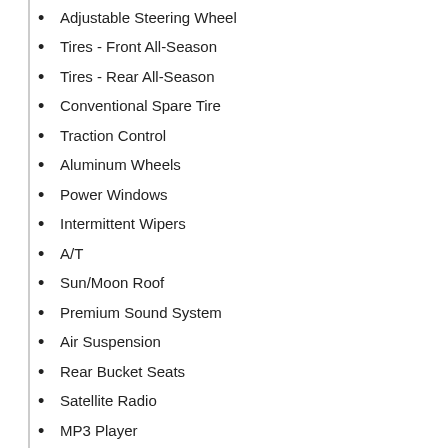Adjustable Steering Wheel
Tires - Front All-Season
Tires - Rear All-Season
Conventional Spare Tire
Traction Control
Aluminum Wheels
Power Windows
Intermittent Wipers
A/T
Sun/Moon Roof
Premium Sound System
Air Suspension
Rear Bucket Seats
Satellite Radio
MP3 Player
Fog Lamps
Heated Front Seat(s)
Privacy Glass
Variable Speed Intermittent Wipers
Rain Sensing Wipers
Steering Wheel Audio Controls
Power Outlet
Engine Immobilizer